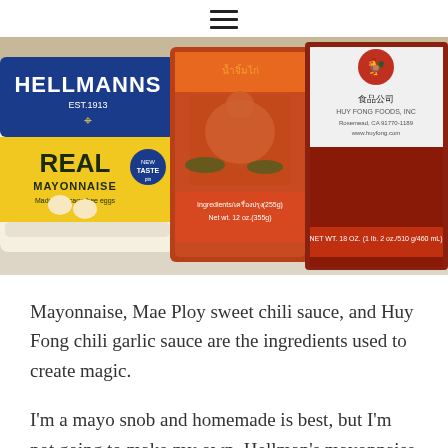≡
[Figure (photo): Three condiment jars side by side on a marble surface: Hellmann's Real Mayonnaise (blue and yellow label, EST.1913, Made with cage free eggs), Mae Ploy sweet chili sauce (center, Thai label with chicken image), and Huy Fong chili garlic sauce (right, dark red sauce with rooster logo).]
Mayonnaise, Mae Ploy sweet chili sauce, and Huy Fong chili garlic sauce are the ingredients used to create magic.
I'm a mayo snob and homemade is best, but I'm not going to make my own. Hellman's mayonnaise